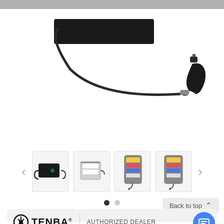[Figure (photo): Close-up product photo of a black camera strap or tether with a metal carabiner/hook on the right end and a black rectangular pouch/sleeve at the top left, against a white background.]
[Figure (photo): Thumbnail carousel showing four product images of a Tenba organizer/wallet: (1) closed black pouch with teal accent and wrist strap, (2) open pouch showing interior card slots, (3) open organizer front view with colored slots and lanyard, (4) open organizer back view. Navigation arrows on left and right.]
Back to top ∧
[Figure (logo): TENBA® brand logo with circular T icon]
AUTHORIZED DEALER
IN STOCK